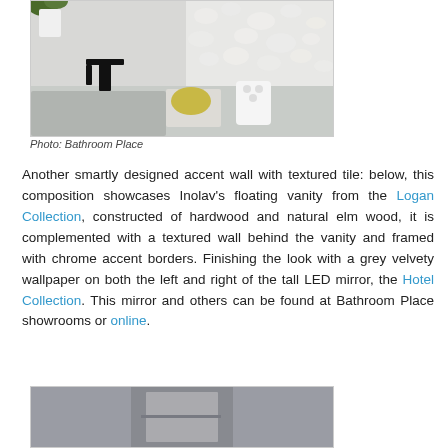[Figure (photo): Bathroom vanity scene with black faucet, grey sink, soap dish with yellow soap, white toothbrush holder, and white textured tile wall in background]
Photo: Bathroom Place
Another smartly designed accent wall with textured tile: below, this composition showcases Inolav's floating vanity from the Logan Collection, constructed of hardwood and natural elm wood, it is complemented with a textured wall behind the vanity and framed with chrome accent borders. Finishing the look with a grey velvety wallpaper on both the left and right of the tall LED mirror, the Hotel Collection. This mirror and others can be found at Bathroom Place showrooms or online.
[Figure (photo): Bottom portion of bathroom scene showing mirror and grey wall elements]